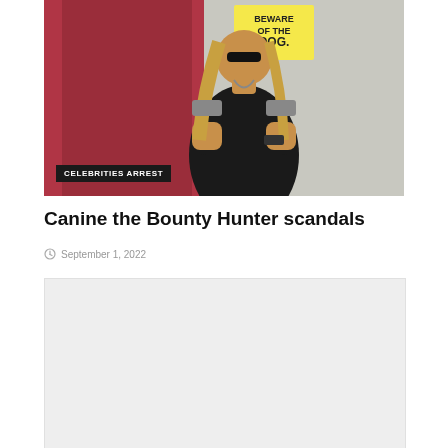[Figure (photo): Photo of Dog the Bounty Hunter standing with arms crossed in front of a red door with a 'Beware of the Dog' sign, wearing a black sleeveless shirt and sunglasses with long blonde hair. Badge overlay reading 'CELEBRITIES ARREST' at bottom left.]
Canine the Bounty Hunter scandals
September 1, 2022
[Figure (photo): Second image placeholder (light gray box)]